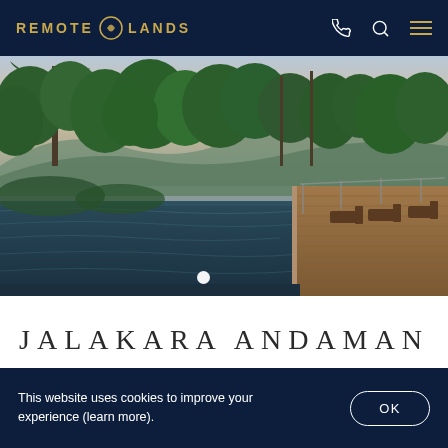REMOTE LANDS
[Figure (photo): Aerial view of a jungle infinity pool overlooking lush tropical trees and mountains at dusk, with wooden deck and lounge chairs to the right]
JALAKARA ANDAMAN ISLANDS
This website uses cookies to improve your experience (learn more).